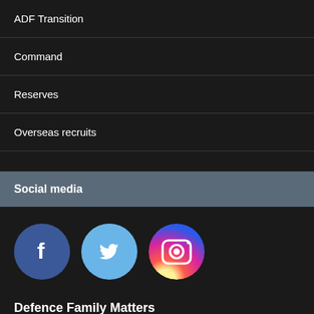ADF Transition
Command
Reserves
Overseas recruits
Social media
[Figure (illustration): Three social media icons: Facebook (blue circle with white f), Twitter (light blue circle with white bird), Instagram (gradient circle with camera icon)]
Defence Family Matters